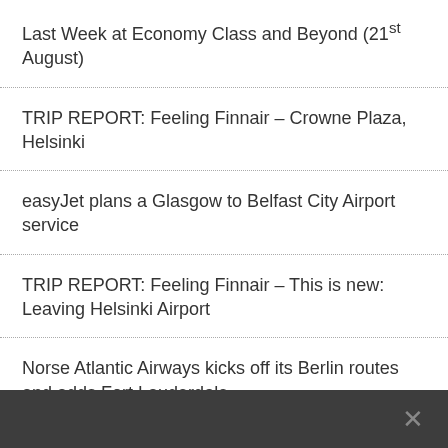Last Week at Economy Class and Beyond (21st August)
TRIP REPORT: Feeling Finnair – Crowne Plaza, Helsinki
easyJet plans a Glasgow to Belfast City Airport service
TRIP REPORT: Feeling Finnair – This is new: Leaving Helsinki Airport
Norse Atlantic Airways kicks off its Berlin routes and adds Fort Lauderdale
×